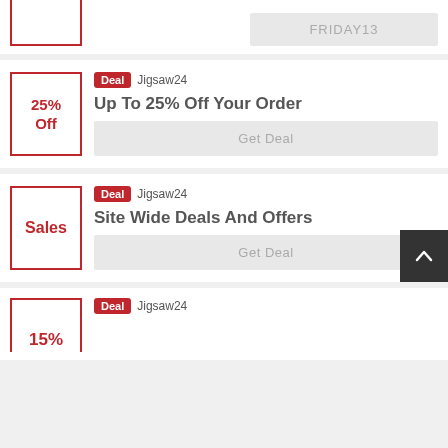[Figure (other): Partial coupon/deal card at top with a red-bordered thumbnail box and code button showing FRIDAY13]
FRIDAY13
[Figure (other): Deal card for Jigsaw24 - Up To 25% Off Your Order, with red Deal badge, 25% Off thumbnail, Get Deal button]
Deal  Jigsaw24
Up To 25% Off Your Order
Get Deal
[Figure (other): Deal card for Jigsaw24 - Site Wide Deals And Offers, with red Deal badge, Sales thumbnail, Get Deal button]
Deal  Jigsaw24
Site Wide Deals And Offers
Get Deal
[Figure (other): Partial deal card at bottom for Jigsaw24 showing 15% partial text and Deal badge]
Deal  Jigsaw24